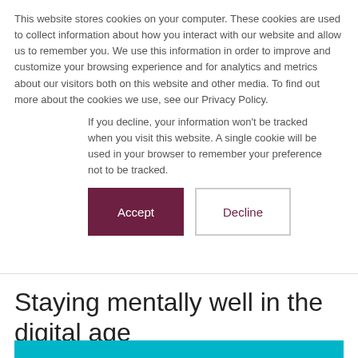This website stores cookies on your computer. These cookies are used to collect information about how you interact with our website and allow us to remember you. We use this information in order to improve and customize your browsing experience and for analytics and metrics about our visitors both on this website and other media. To find out more about the cookies we use, see our Privacy Policy.
If you decline, your information won't be tracked when you visit this website. A single cookie will be used in your browser to remember your preference not to be tracked.
Accept
Decline
Staying mentally well in the digital age
19 May 2016 • by David Cliff